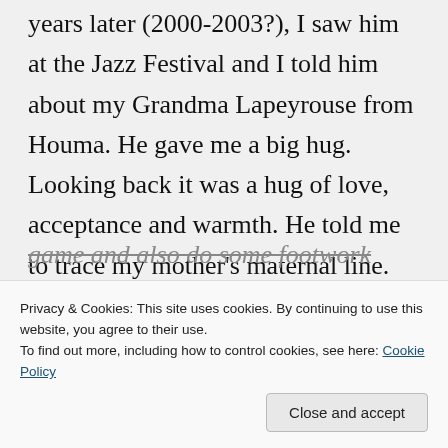years later (2000-2003?), I saw him at the Jazz Festival and I told him about my Grandma Lapeyrouse from Houma. He gave me a big hug. Looking back it was a hug of love, acceptance and warmth. He told me to trace my mother's maternal line. What a Great History, Culture and Heritage my mother had!!
Now I wish I could talk more, but the
game and also do some footwork
Privacy & Cookies: This site uses cookies. By continuing to use this website, you agree to their use.
To find out more, including how to control cookies, see here: Cookie Policy